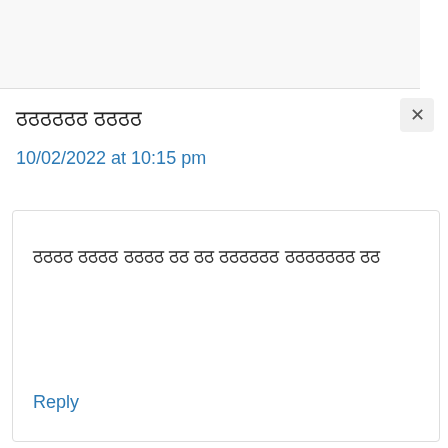ठठठठठठ ठठठठ
10/02/2022 at 10:15 pm
ठठठठ ठठठठ ठठठठ ठठ ठठ ठठठठठठ ठठठठठठठ ठठ
Reply